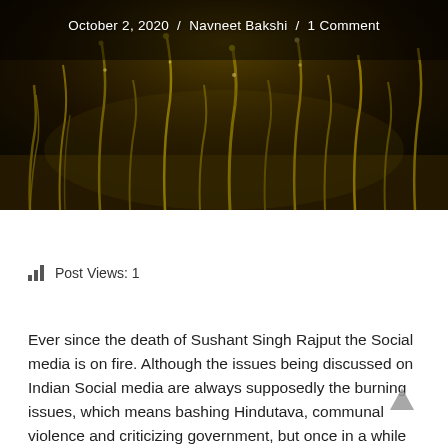[Figure (photo): Dark moody photo of grass/wheat blades with water droplets against a dark brown/black background]
October 2, 2020 / Navneet Bakshi / 1 Comment
Post Views: 1
Ever since the death of Sushant Singh Rajput the Social media is on fire. Although the issues being discussed on Indian Social media are always supposedly the burning issues, which means bashing Hindutava, communal violence and criticizing government, but once in a while like now, if there's an issue